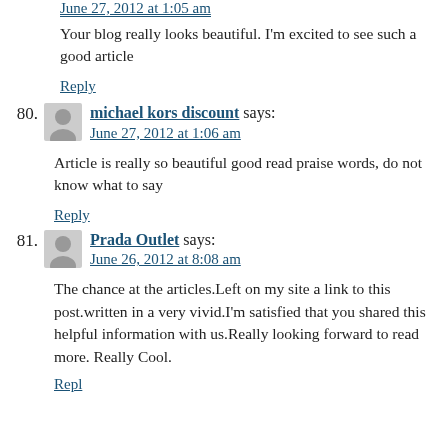June 27, 2012 at 1:05 am
Your blog really looks beautiful. I'm excited to see such a good article
Reply
80. michael kors discount says: June 27, 2012 at 1:06 am
Article is really so beautiful good read praise words, do not know what to say
Reply
81. Prada Outlet says: June 26, 2012 at 8:08 am
The chance at the articles.Left on my site a link to this post.written in a very vivid.I'm satisfied that you shared this helpful information with us.Really looking forward to read more. Really Cool.
Reply